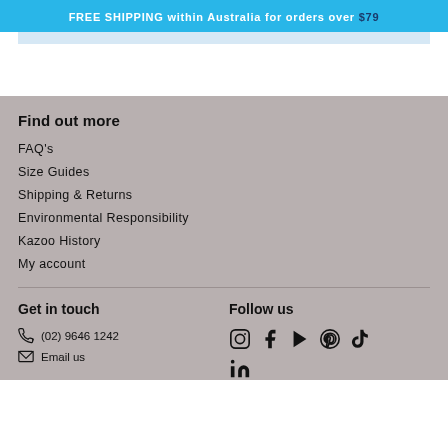FREE SHIPPING within Australia for orders over $79
Find out more
FAQ's
Size Guides
Shipping & Returns
Environmental Responsibility
Kazoo History
My account
Get in touch
Follow us
(02) 9646 1242
Email us
[Figure (other): Social media icons: Instagram, Facebook, YouTube, Pinterest, TikTok, LinkedIn]